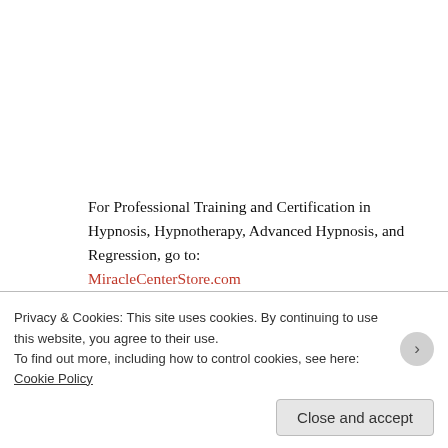For Professional Training and Certification in Hypnosis, Hypnotherapy, Advanced Hypnosis, and Regression, go to: MiracleCenterStore.com
* * * * *
What is Hypnotherapy?
Hypnotherapy is the process of using hypnosis for the purpose of healing and transformation. Hypnotherapy is accomplished by inducing a subject into hypnosis or a state of trance, with their permission, to anchor and reinforce positive feelings and
Privacy & Cookies: This site uses cookies. By continuing to use this website, you agree to their use.
To find out more, including how to control cookies, see here: Cookie Policy
Close and accept